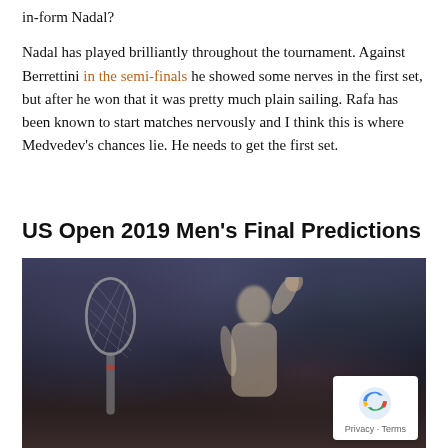in-form Nadal?
Nadal has played brilliantly throughout the tournament. Against Berrettini in the semi-finals he showed some nerves in the first set, but after he won that it was pretty much plain sailing. Rafa has been known to start matches nervously and I think this is where Medvedev’s chances lie. He needs to get the first set.
US Open 2019 Men’s Final Predictions
[Figure (photo): A tennis player holding a racket and raising their hand in a celebratory gesture, photographed in an indoor arena with a blurred crowd in the background. A reCAPTCHA privacy overlay is visible in the bottom-right corner.]